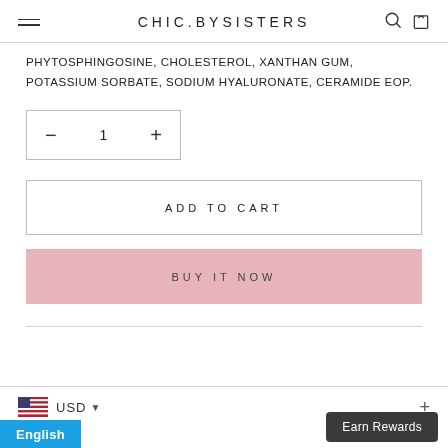CHIC.BYSISTERS
PHYTOSPHINGOSINE, CHOLESTEROL, XANTHAN GUM, POTASSIUM SORBATE, SODIUM HYALURONATE, CERAMIDE EOP.
Quantity selector: − 1 +
ADD TO CART
BUY IT NOW
USD  English  Earn Rewards